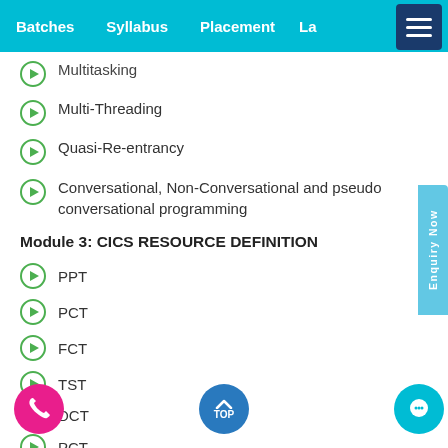Batches  Syllabus  Placement  La...
Multitasking
Multi-Threading
Quasi-Re-entrancy
Conversational, Non-Conversational and pseudo conversational programming
Module 3: CICS RESOURCE DEFINITION
PPT
PCT
FCT
TST
DCT
PCT